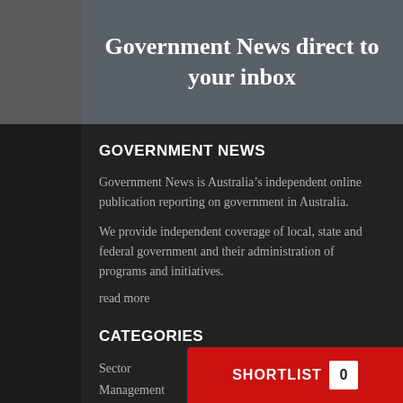Government News direct to your inbox
GOVERNMENT NEWS
Government News is Australia’s independent online publication reporting on government in Australia.
We provide independent coverage of local, state and federal government and their administration of programs and initiatives.
read more
CATEGORIES
Sector
Management
SHORTLIST 0